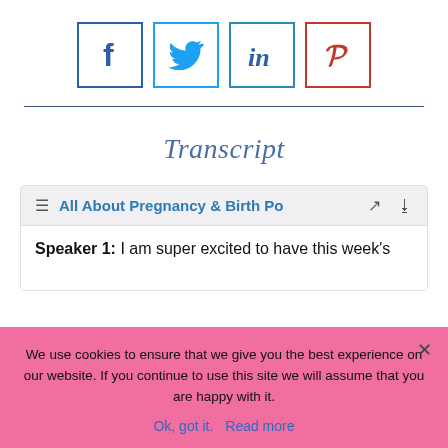[Figure (other): Social sharing icons row: Facebook (blue border, f), Twitter (light blue border, bird), LinkedIn (teal border, in), Pinterest (red border, P logo)]
Transcript
All About Pregnancy & Birth Po
Speaker 1: I am super excited to have this week's
We use cookies to ensure that we give you the best experience on our website. If you continue to use this site we will assume that you are happy with it.
Ok, got it.   Read more